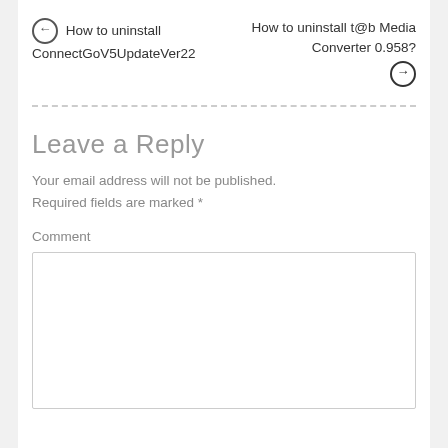← How to uninstall ConnectGoV5UpdateVer22
How to uninstall t@b Media Converter 0.958? →
Leave a Reply
Your email address will not be published. Required fields are marked *
Comment